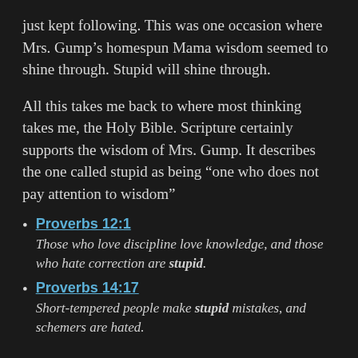just kept following. This was one occasion where Mrs. Gump’s homespun Mama wisdom seemed to shine through. Stupid will shine through.
All this takes me back to where most thinking takes me, the Holy Bible. Scripture certainly supports the wisdom of Mrs. Gump. It describes the one called stupid as being “one who does not pay attention to wisdom”
Proverbs 12:1 — Those who love discipline love knowledge, and those who hate correction are stupid.
Proverbs 14:17 — Short-tempered people make stupid mistakes, and schemers are hated.